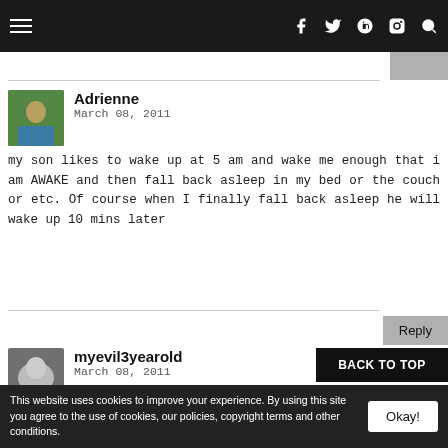Navigation bar with hamburger menu and social icons (f, twitter, pinterest, instagram, search)
Adrienne
March 08, 2011
my son likes to wake up at 5 am and wake me enough that i am AWAKE and then fall back asleep in my bed or the couch or etc. Of course when I finally fall back asleep he will wake up 10 mins later
myevil3yearold
March 08, 2011
This website uses cookies to improve your experience. By using this site you agree to the use of cookies, our policies, copyright terms and other conditions.